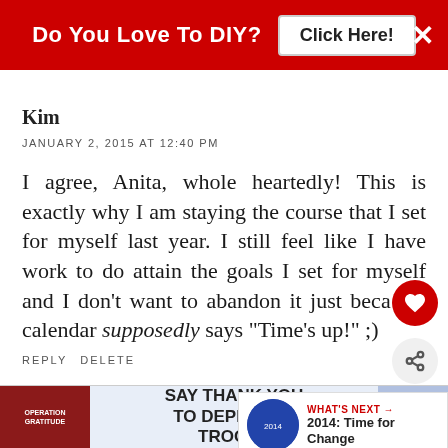[Figure (screenshot): Red banner advertisement: 'Do You Love To DIY? Click Here!' with white X close button]
Kim
JANUARY 2, 2015 AT 12:40 PM
I agree, Anita, whole heartedly! This is exactly why I am staying the course that I set for myself last year. I still feel like I have work to do attain the goals I set for myself and I don't want to abandon it just beca the calendar supposedly says "Time's up!" ;)
REPLY DELETE
[Figure (screenshot): Bottom advertisement: Operation Gratitude - SAY THANK YOU TO DEPLOYED TROOPS]